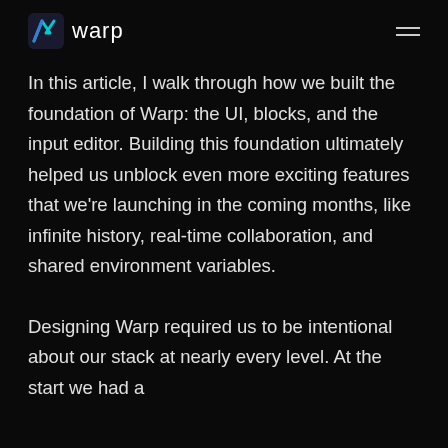warp
In this article, I walk through how we built the foundation of Warp: the UI, blocks, and the input editor. Building this foundation ultimately helped us unblock even more exciting features that we're launching in the coming months, like infinite history, real-time collaboration, and shared environment variables.
Designing Warp required us to be intentional about our stack at nearly every level. At the start we had a